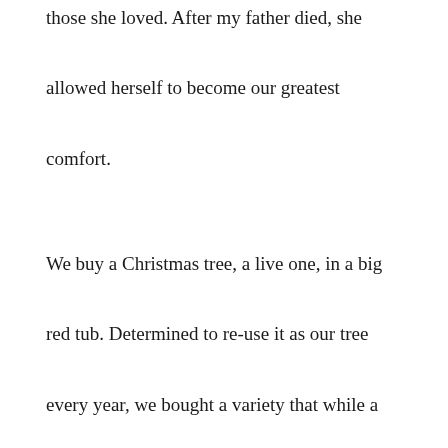those she loved. After my father died, she allowed herself to become our greatest comfort.

We buy a Christmas tree, a live one, in a big red tub. Determined to re-use it as our tree every year, we bought a variety that while a small tree now, can grow up to eight feet tall. Then it will need to be planted outside unless we want to stunt it's future growth. In crafting our decorations, we choose life and re-birth. I have cranberries to string, pine cones gathered from under our towering white pines, evergreen and boxwood garlands to weave between the spokes of our staircases, inside